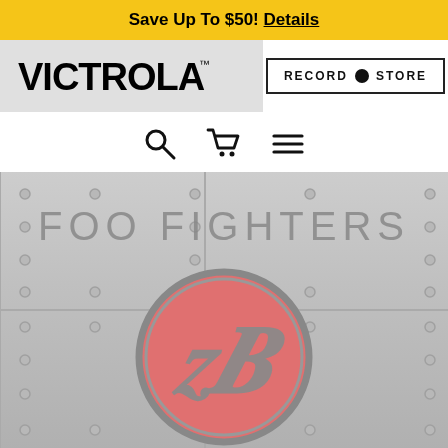Save Up To $50! Details
[Figure (logo): Victrola brand logo in black bold uppercase text]
[Figure (logo): Record Store button/badge logo with circular dot between RECORD and STORE]
[Figure (illustration): Navigation icons: search magnifier, shopping cart, hamburger menu]
[Figure (photo): Foo Fighters album artwork showing the band name in grey letters on a metallic riveted surface, with the iconic FF double-F logo in a pink/salmon circle]